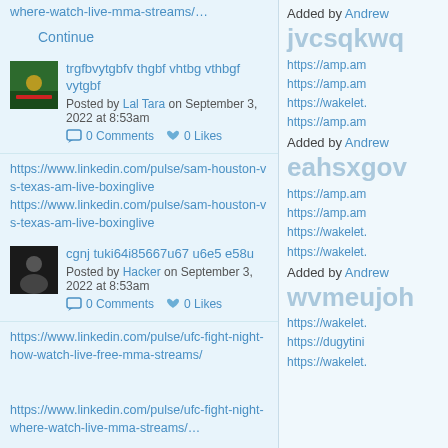where-watch-live-mma-streams/…
Continue
trgfbvytgbfv thgbf vhtbg vthbgf vytgbf
Posted by Lal Tara on September 3, 2022 at 8:53am
0 Comments  0 Likes
https://www.linkedin.com/pulse/sam-houston-vs-texas-am-live-boxinglive https://www.linkedin.com/pulse/sam-houston-vs-texas-am-live-boxinglive
cgnj tuki64i85667u67 u6e5 e58u
Posted by Hacker on September 3, 2022 at 8:53am
0 Comments  0 Likes
https://www.linkedin.com/pulse/ufc-fight-night-how-watch-live-free-mma-streams/
https://www.linkedin.com/pulse/ufc-fight-night-where-watch-live-mma-streams/…
Added by Andrew
jvcsqkwq
https://amp.am https://amp.am https://wakelet. https://amp.am
Added by Andrew
eahsxgov
https://amp.am https://amp.am https://wakelet. https://wakelet.
Added by Andrew
wvmeujoh
https://wakelet. https://dugytini https://wakelet.